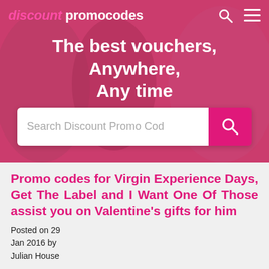[Figure (screenshot): Website header for discount promocodes with pink/magenta hero banner showing women, navigation bar with logo, search icon and hamburger menu, hero text 'The best vouchers, Anywhere, Any time', and a search input bar with pink search button]
Promo codes for Virgin Experience Days, Get The Label and I Want One Of Those assist you on Valentine's gifts for him
Posted on 29 Jan 2016 by Julian House